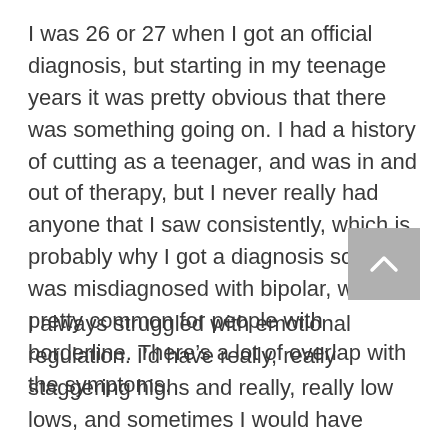I was 26 or 27 when I got an official diagnosis, but starting in my teenage years it was pretty obvious that there was something going on. I had a history of cutting as a teenager, and was in and out of therapy, but I never really had anyone that I saw consistently, which is probably why I got a diagnosis so late. I was misdiagnosed with bipolar, which is pretty common for people with borderline. There’s a lot of overlap with the symptoms.
I always struggled with emotional regulation. I’d have really, really staggering highs and really, really low lows, and sometimes I would have